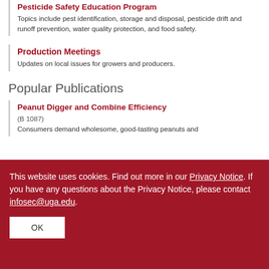Pesticide Safety Education Program
Topics include pest identification, storage and disposal, pesticide drift and runoff prevention, water quality protection, and food safety.
Production Meetings
Updates on local issues for growers and producers.
Popular Publications
Peanut Digger and Combine Efficiency
(B 1087)
Consumers demand wholesome, good-tasting peanuts and
This website uses cookies. Find out more in our Privacy Notice. If you have any questions about the Privacy Notice, please contact infosec@uga.edu.
OK